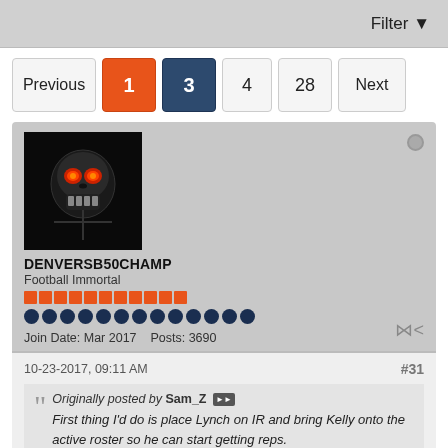Filter
Previous | 1 | 3 | 4 | 28 | Next
[Figure (photo): Forum user avatar: dark skull with glowing red eyes on black background]
DENVERSB50CHAMP
Football Immortal
Join Date: Mar 2017  Posts: 3690
10-23-2017, 09:11 AM  #31
Originally posted by Sam_Z
First thing I'd do is place Lynch on IR and bring Kelly onto the active roster so he can start getting reps.

I'd bench Siemian and give Brock the nod, not because he's a